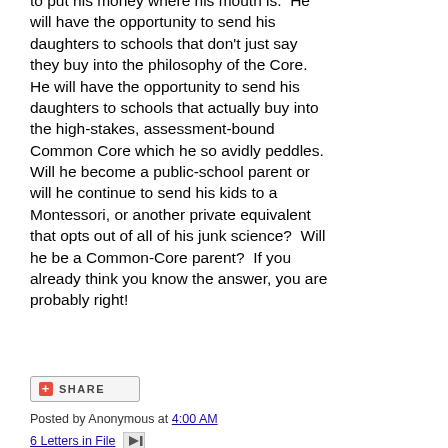to put his money where his mouth is.  He will have the opportunity to send his daughters to schools that don't just say they buy into the philosophy of the Core.  He will have the opportunity to send his daughters to schools that actually buy into the high-stakes, assessment-bound Common Core which he so avidly peddles.  Will he become a public-school parent or will he continue to send his kids to a Montessori, or another private equivalent that opts out of all of his junk science?  Will he be a Common-Core parent?  If you already think you know the answer, you are probably right!
[Figure (other): Share button with red plus icon and SHARE label]
Posted by Anonymous at 4:00 AM
6 Letters in File